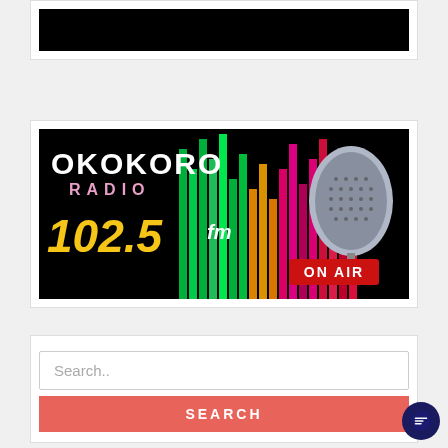[Figure (screenshot): Black image strip at top of page]
[Figure (logo): Okokoro Radio 102.5 FM On Air banner with microphone and equalizer bars on black background]
[Figure (screenshot): Search box with placeholder text 'Search..' and a red SEARCH button below it]